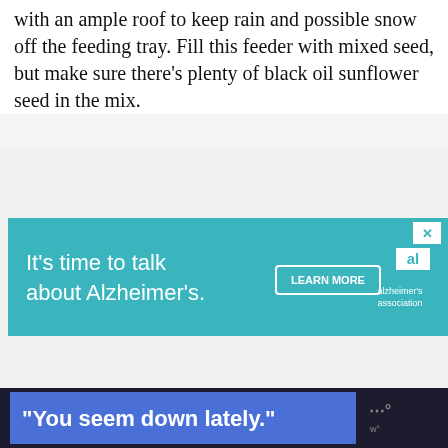with an ample roof to keep rain and possible snow off the feeding tray. Fill this feeder with mixed seed, but make sure there's plenty of black oil sunflower seed in the mix.
[Figure (other): Teal advertisement banner for Alzheimer's Association reading 'It's time to talk about Alzheimer's.' with a LEARN MORE button and the Alzheimer's Association logo.]
[Figure (other): Dark bottom bar advertisement with blue box reading '"You seem down lately."' and a logo on the right side.]